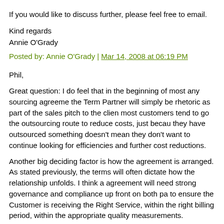If you would like to discuss further, please feel free to email.
Kind regards
Annie O'Grady
Posted by: Annie O'Grady | Mar 14, 2008 at 06:19 PM
Phil,
Great question: I do feel that in the beginning of most any sourcing agreeme the Term Partner will simply be rhetoric as part of the sales pitch to the clien most customers tend to go the outsourcing route to reduce costs, just becau they have outsourced something doesn't mean they don't want to continue looking for efficiencies and further cost reductions.
Another big deciding factor is how the agreement is arranged. As stated previously, the terms will often dictate how the relationship unfolds. I think a agreement will need strong governance and compliance up front on both pa to ensure the Customer is receiving the Right Service, within the right billing period, within the appropriate quality measurements.
What I have seen is where the customer doesn't mind their current run rate, would like to Reduce costs/increase efficiencies to free up revenue that will the Customer to fund additional services and or technology in their environm